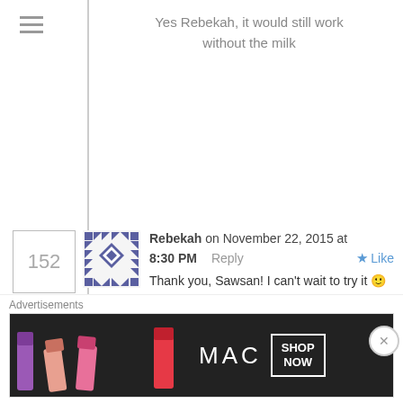Yes Rebekah, it would still work without the milk
Rebekah on November 22, 2015 at 8:30 PM  Reply  Like
Thank you, Sawsan! I can't wait to try it 🙂
Harissa recipe | Chef in disguise on November 29, 2015 at 2:16 PM  Reply  Like
[...] throughout the Levant and Egypt
Advertisements